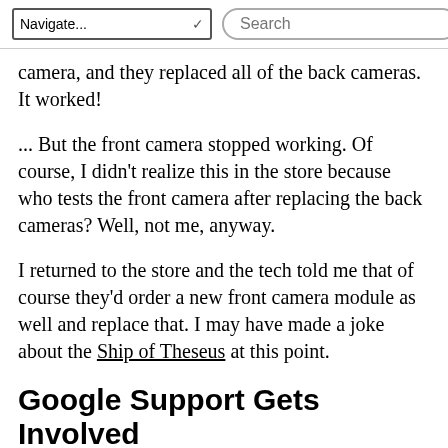Navigate... | Search
camera, and they replaced all of the back cameras. It worked!
... But the front camera stopped working. Of course, I didn't realize this in the store because who tests the front camera after replacing the back cameras? Well, not me, anyway.
I returned to the store and the tech told me that of course they'd order a new front camera module as well and replace that. I may have made a joke about the Ship of Theseus at this point.
Google Support Gets Involved
Replacing the front camera module did not resolve the issue. Factory resetting the phone did not resolve it either. The service phone did not resolve...